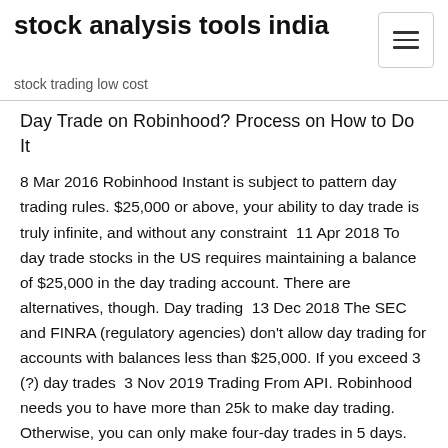stock analysis tools india
stock trading low cost
Day Trade on Robinhood? Process on How to Do It
8 Mar 2016 Robinhood Instant is subject to pattern day trading rules. $25,000 or above, your ability to day trade is truly infinite, and without any constraint  11 Apr 2018 To day trade stocks in the US requires maintaining a balance of $25,000 in the day trading account. There are alternatives, though. Day trading  13 Dec 2018 The SEC and FINRA (regulatory agencies) don't allow day trading for accounts with balances less than $25,000. If you exceed 3 (?) day trades  3 Nov 2019 Trading From API. Robinhood needs you to have more than 25k to make day trading. Otherwise, you can only make four-day trades in 5 days. 12 Dec 2019 Compare Robinhood to its alternatives, based on price, features, and Trade account with $25,000 or more in new money within 45 days. 2 Sep 2019 When you buy and sell the same penny stock or option within the same day, that's considered a day trade. With accounts valued below